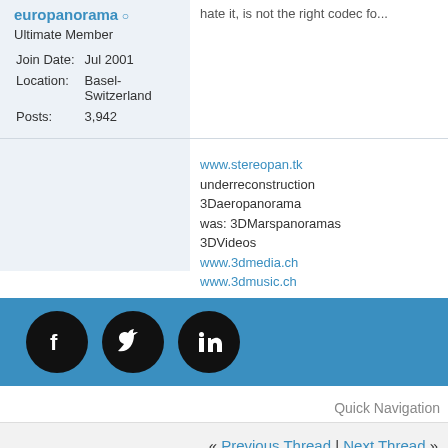europanorama
Ultimate Member
Join Date: Jul 2001
Location: Basel-Switzerland
Posts: 3,942
hate it, is not the right codec fo...
www.stereopan.tk
underreconstruction
3Daeropanorama
was: 3DMarspanoramas
3DVideos
www.3dmedia.ch
www.3dmusic.ch
[Figure (infographic): Social media icons bar: Facebook, Twitter, LinkedIn on blue background]
Quick Navigation
« Previous Thread | Next Thread »
Posting Permissions
You may not post new threads
BB code is On
Smilies are On